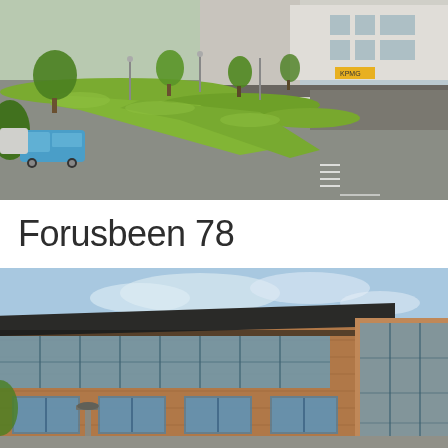[Figure (photo): Aerial/elevated view of a commercial building parking lot with green hedgerow landscaping, trees, and a large modern building with glass facade in the background. A blue van is parked in the lot.]
Forusbeen 78
[Figure (photo): Exterior view of a modern two-storey commercial/office building with red brick facade and large glass windows and curtain wall. A black overhang canopy extends over the top floor. Another brick building is visible to the right. Blue sky with light clouds in background.]